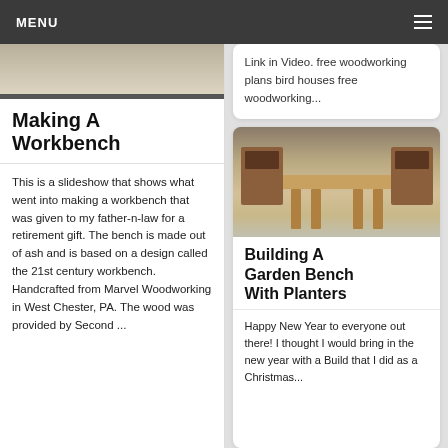MENU
[Figure (photo): Partial photo of a wooden workbench from above]
Making A Workbench
This is a slideshow that shows what went into making a workbench that was given to my father-n-law for a retirement gift. The bench is made out of ash and is based on a design called the 21st century workbench. Handcrafted from Marvel Woodworking in West Chester, PA. The wood was provided by Second ...
Link in Video. free woodworking plans bird houses free woodworking...
[Figure (photo): Photo of a wooden garden bench with planter boxes on each end]
Building A Garden Bench With Planters
Happy New Year to everyone out there! I thought I would bring in the new year with a Build that I did as a Christmas...